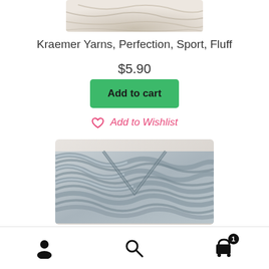[Figure (photo): Top portion of a cream/beige yarn skein shown from above, cut off at top of frame]
Kraemer Yarns, Perfection, Sport, Fluff
$5.90
Add to cart
Add to Wishlist
[Figure (photo): Close-up photo of light grey/blue textured yarn with a cable knit or braided pattern visible]
User icon, Search icon, Cart icon with badge showing 1 item